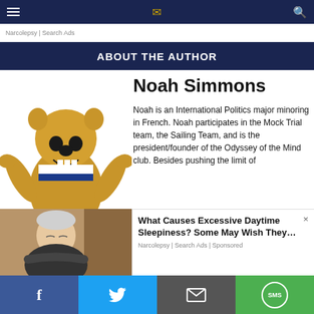☰  [logo]  🔍
Narcolepsy | Search Ads
ABOUT THE AUTHOR
Noah Simmons
[Figure (illustration): Penn State Nittany Lion mascot illustration with arms raised]
Noah is an International Politics major minoring in French. Noah participates in the Mock Trial team, the Sailing Team, and is the president/founder of the Odyssey of the Mind club. Besides pushing the limit of
[Figure (photo): Elderly man sleeping in a chair]
What Causes Excessive Daytime Sleepiness? Some May Wish They…
Narcolepsy | Search Ads | Sponsored
f  Twitter  ✉  SMS